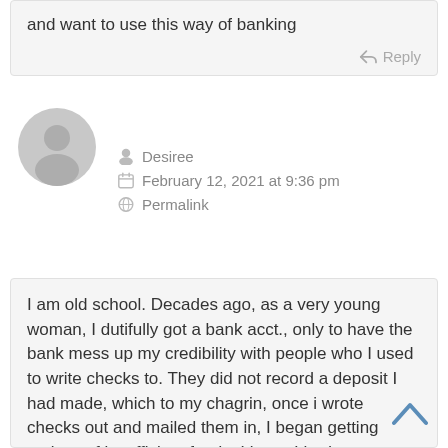and want to use this way of banking
Reply
[Figure (illustration): Generic user avatar circle with person silhouette in grey]
Desiree
February 12, 2021 at 9:36 pm
Permalink
I am old school. Decades ago, as a very young woman, I dutifully got a bank acct., only to have the bank mess up my credibility with people who I used to write checks to. They did not record a deposit I had made, which to my chagrin, once i wrote checks out and mailed them in, I began getting notices of insufficient funds. I knew I had